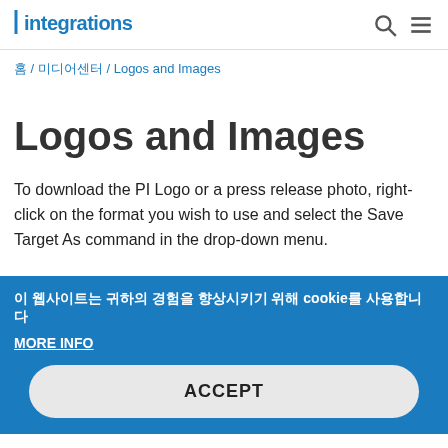integrations
홈 / 미디어센터 / Logos and Images
Logos and Images
To download the PI Logo or a press release photo, right-click on the format you wish to use and select the Save Target As command in the drop-down menu.
이 웹사이트는 귀하의 경험을 향상시키기 위해 cookie를 사용합니다
MORE INFO
ACCEPT